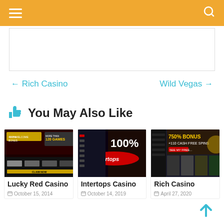Navigation bar with hamburger menu and search icon
[Figure (screenshot): Advertisement/banner placeholder area]
← Rich Casino    Wild Vegas →
👍 You May Also Like
[Figure (screenshot): Lucky Red Casino banner showing 400% bonus and more than 120 games]
Lucky Red Casino
October 15, 2014
[Figure (screenshot): Intertops Casino banner showing 100% bonus]
Intertops Casino
October 14, 2019
[Figure (screenshot): Rich Casino banner showing 750% bonus and 110 cash free spins]
Rich Casino
April 27, 2020